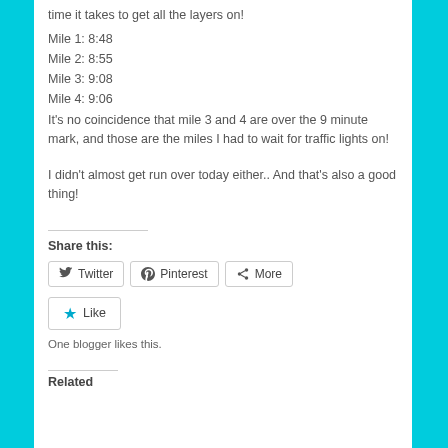time it takes to get all the layers on!
Mile 1: 8:48
Mile 2: 8:55
Mile 3: 9:08
Mile 4: 9:06
It's no coincidence that mile 3 and 4 are over the 9 minute mark, and those are the miles I had to wait for traffic lights on!
I didn't almost get run over today either.. And that's also a good thing!
Share this:
[Figure (other): Social share buttons: Twitter, Pinterest, More]
[Figure (other): Like button with star icon]
One blogger likes this.
Related